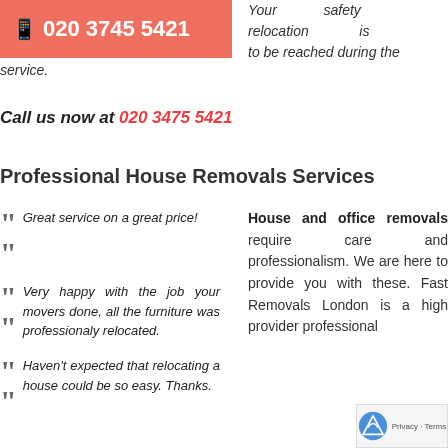[Figure (other): Phone number banner with salmon/coral background showing mobile icon and phone number 020 3745 5421]
Your safety relocation is to be reached during the service.
Call us now at 020 34755421
Professional House Removals Services
Great service on a great price!
Very happy with the job your movers done, all the furniture was professionaly relocated.
Haven't expected that relocating a house could be so easy. Thanks.
House and office removals require care and professionalism. We are here to provide you with these. Fast Removals London is a high provider professional